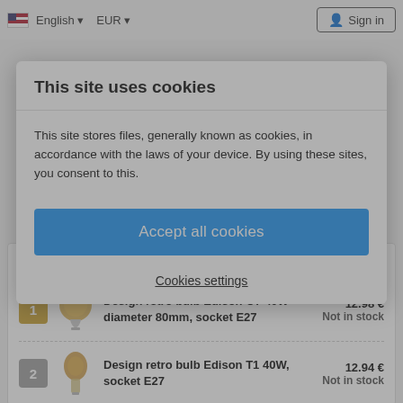English  EUR  Sign in
RETRO BULBS
Top selling products in the category
Design retro bulb Edison O7 40W diameter 80mm, socket E27  12.98 €  Not in stock
Design retro bulb Edison T1 40W, socket E27  12.94 €  Not in stock
This site uses cookies
This site stores files, generally known as cookies, in accordance with the laws of your device. By using these sites, you consent to this.
Accept all cookies
Cookies settings